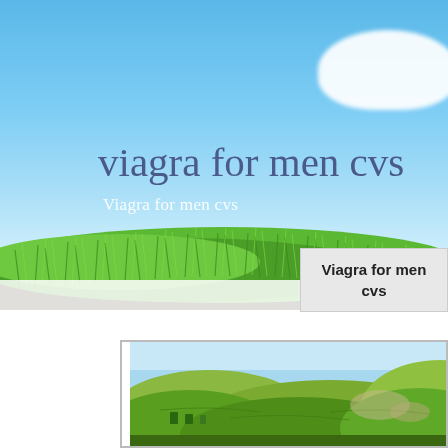[Figure (photo): Blue sky with white clouds and green grass meadow foreground — banner image for a website about Viagra for men cvs]
viagra for men cvs
Viagra for men cvs
Viagra for men cvs
[Figure (photo): Green rolling hills landscape with blue sky — lower banner image]